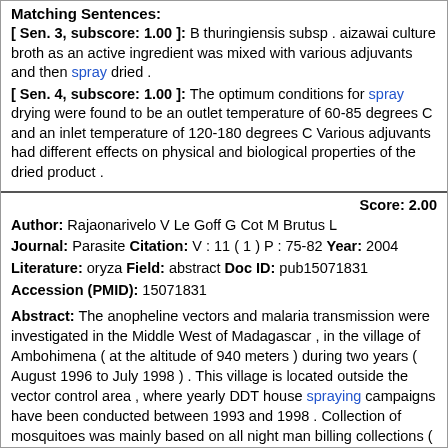Matching Sentences:
[ Sen. 3, subscore: 1.00 ]: B thuringiensis subsp . aizawai culture broth as an active ingredient was mixed with various adjuvants and then spray dried .
[ Sen. 4, subscore: 1.00 ]: The optimum conditions for spray drying were found to be an outlet temperature of 60-85 degrees C and an inlet temperature of 120-180 degrees C Various adjuvants had different effects on physical and biological properties of the dried product .
Score: 2.00
Author: Rajaonarivelo V Le Goff G Cot M Brutus L
Journal: Parasite Citation: V : 11 ( 1 ) P : 75-82 Year: 2004
Literature: oryza Field: abstract Doc ID: pub15071831 Accession (PMID): 15071831
Abstract: The anopheline vectors and malaria transmission were investigated in the Middle West of Madagascar , in the village of Ambohimena ( at the altitude of 940 meters ) during two years ( August 1996 to July 1998 ) . This village is located outside the vector control area , where yearly DDT house spraying campaigns have been conducted between 1993 and 1998 . Collection of mosquitoes was mainly based on all night man billing collections ( 650 man-nights ) , pyrethrum spray catches ( 224 bedrooms ) and direct collections in outdoor resting places ( 140 toilets , 61 pigsties , 33 holes , 19 sheds , 79 sisal hedges , 70 cart shelters ) . Blood fed anophelines allowed analysis of the origin of blood with an ELISA method . Presence of circum-sporozoite protein was assessed with another ELISA method . The total number of collected anophelines was 14 , 280 . Two malaria vectors were identified : Anopheles funestus Giles , 1900 and An . arabiensis Patton , 1902 . An . funestus was the most abundant